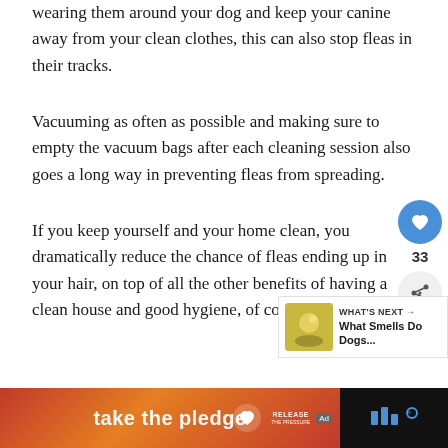If you make sure to wash your clothes after wearing them around your dog and keep your canine away from your clean clothes, this can also stop fleas in their tracks.
Vacuuming as often as possible and making sure to empty the vacuum bags after each cleaning session also goes a long way in preventing fleas from spreading.
If you keep yourself and your home clean, you dramatically reduce the chance of fleas ending up in your hair, on top of all the other benefits of having a clean house and good hygiene, of course.
[Figure (screenshot): Website UI elements: a blue circular heart/like button with count 33, a share button, and a 'WHAT'S NEXT' widget showing 'What Smells Do Dogs...' with a thumbnail image]
[Figure (screenshot): Footer advertisement bar with dark background showing a 'take the pledge' banner ad with orange/red gradient, RELEASE branding, Ad badge, and a brand logo on the right]